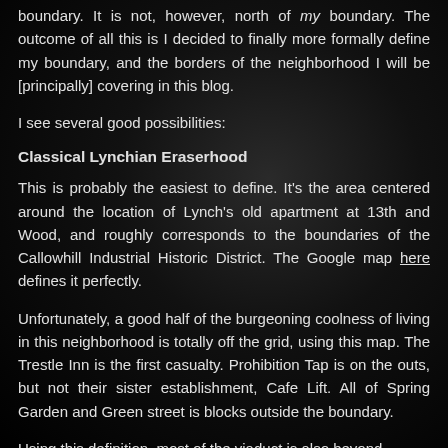boundary. It is not, however, north of my boundary. The outcome of all this is I decided to finally more formally define my boundary, and the borders of the neighborhood I will be [principally] covering in this blog.
I see several good possibilities:
Classical Lynchian Eraserhood
This is probably the easiest to define. It's the area centered around the location of Lynch's old apartment at 13th and Wood, and roughly corresponds to the boundaries of the Callowhill Industrial Historic District. The Google map here defines it perfectly.
Unfortunately, a good half of the burgeoning coolness of living in this neighborhood is totally off the grid, using this map. The Trestle Inn is the first casualty. Prohibition Tap is on the outs, but not their sister establishment, Cafe Lift. All of Spring Garden and Green street is blocks outside the boundary.
Using this definition, most of the viaduct is also beyond